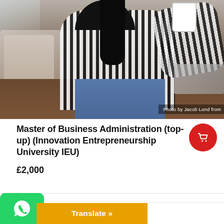[Figure (photo): A woman in a striped top sitting on the floor near a sofa, holding a mug, with a laptop nearby. Photo credit: Photo by Jacob Lund from]
Photo by Jacob Lund from
Master of Business Administration (top-up) (Innovation Entrepreneurship University IEU)
£2,000
[Figure (logo): WhatsApp green logo button]
Translate »